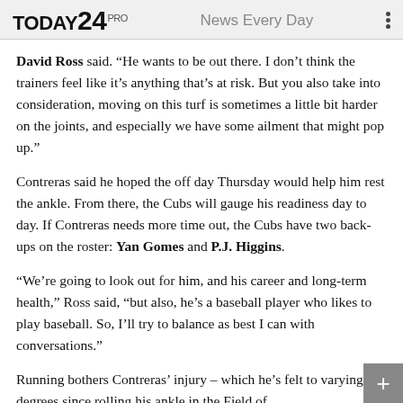TODAY24 PRO   News Every Day
David Ross said. “He wants to be out there. I don’t think the trainers feel like it’s anything that’s at risk. But you also take into consideration, moving on this turf is sometimes a little bit harder on the joints, and especially we have some ailment that might pop up.”
Contreras said he hoped the off day Thursday would help him rest the ankle. From there, the Cubs will gauge his readiness day to day. If Contreras needs more time out, the Cubs have two back-ups on the roster: Yan Gomes and P.J. Higgins.
“We’re going to look out for him, and his career and long-term health,” Ross said, “but also, he’s a baseball player who likes to play baseball. So, I’ll try to balance as best I can with conversations.”
Running bothers Contreras’ injury – which he’s felt to varying degrees since rolling his ankle in the Field of